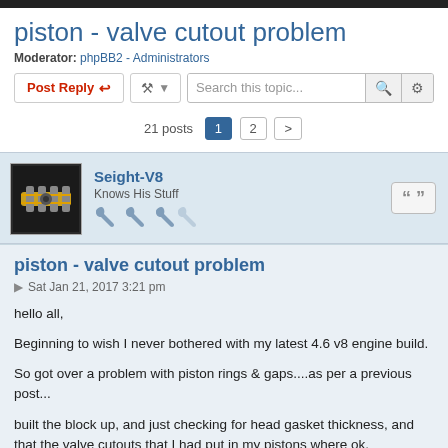piston - valve cutout problem
Moderator: phpBB2 - Administrators
21 posts  1  2  >
Seight-V8
Knows His Stuff
piston - valve cutout problem
Sat Jan 21, 2017 3:21 pm
hello all,

Beginning to wish I never bothered with my latest 4.6 v8 engine build.

So got over a problem with piston rings & gaps....as per a previous post...

built the block up, and just checking for head gasket thickness, and that the valve cutouts that I had put in my pistons where ok.

what do I find.......the inlet valve is still fouling the piston......and not going inside the valve cutout..... so I still only have 1.5mm of valve to piston